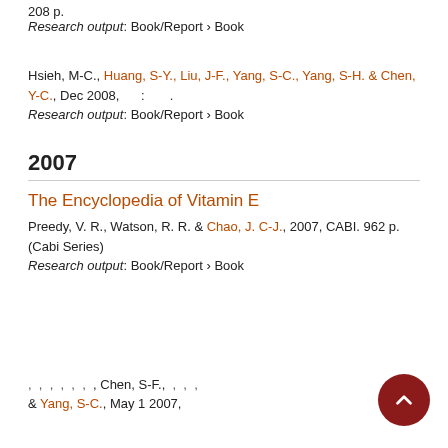208 p.
Research output: Book/Report › Book
Hsieh, M-C., Huang, S-Y., Liu, J-F., Yang, S-C., Yang, S-H. & Chen, Y-C., Dec 2008, : .
Research output: Book/Report › Book
2007
The Encyclopedia of Vitamin E
Preedy, V. R., Watson, R. R. & Chao, J. C-J., 2007, CABI. 962 p. (Cabi Series)
Research output: Book/Report › Book
, , , , , , Chen, S-F., , , , & Yang, S-C., May 1 2007,